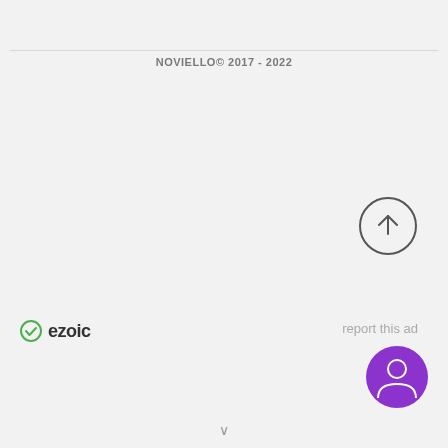NOVIELLO© 2017 - 2022
[Figure (illustration): Circular scroll-to-top button with an upward arrow, outlined circle style]
[Figure (logo): Ezoic logo with green checkmark icon and bold text 'ezoic']
report this ad
[Figure (illustration): Purple circular user/account icon button with person silhouette]